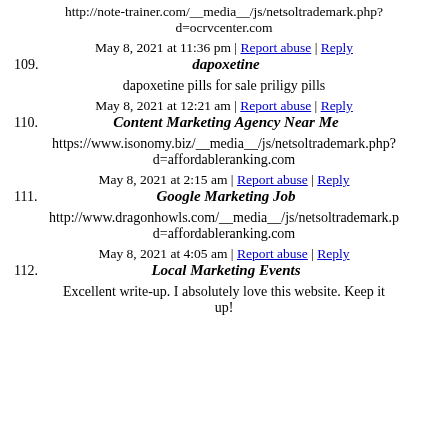http://note-trainer.com/__media__/js/netsoltrademark.php?d=ocrvcenter.com
May 7, 2021 at 11:36 pm | Report abuse | Reply
109. dapoxetine
dapoxetine pills for sale priligy pills
May 8, 2021 at 12:21 am | Report abuse | Reply
110. Content Marketing Agency Near Me
https://www.isonomy.biz/__media__/js/netsoltrademark.php?d=affordableranking.com
May 8, 2021 at 2:15 am | Report abuse | Reply
111. Google Marketing Job
http://www.dragonhowls.com/__media__/js/netsoltrademark.php?d=affordableranking.com
May 8, 2021 at 4:05 am | Report abuse | Reply
112. Local Marketing Events
Excellent write-up. I absolutely love this website. Keep it up!